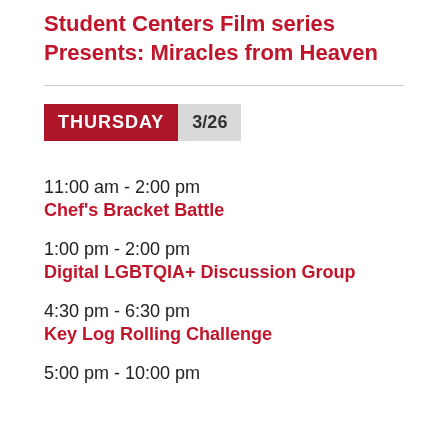Student Centers Film series Presents: Miracles from Heaven
THURSDAY 3/26
11:00 am - 2:00 pm
Chef's Bracket Battle
1:00 pm - 2:00 pm
Digital LGBTQIA+ Discussion Group
4:30 pm - 6:30 pm
Key Log Rolling Challenge
5:00 pm - 10:00 pm